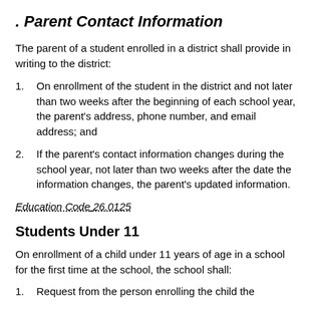. Parent Contact Information
The parent of a student enrolled in a district shall provide in writing to the district:
On enrollment of the student in the district and not later than two weeks after the beginning of each school year, the parent's address, phone number, and email address; and
If the parent's contact information changes during the school year, not later than two weeks after the date the information changes, the parent's updated information.
Education Code 26.0125
Students Under 11
On enrollment of a child under 11 years of age in a school for the first time at the school, the school shall:
Request from the person enrolling the child the